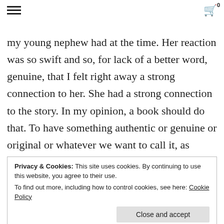interview with Kara, I mentioned the first time we met when I told her about the accident that my young nephew had at the time. Her reaction was so swift and so, for lack of a better word, genuine, that I felt right away a strong connection to her. She had a strong connection to the story. In my opinion, a book should do that. To have something authentic or genuine or original or whatever we want to call it, as opposed to the familiarity of feelings, which is what almost these days most writing is, is just familiar, it takes you down roads
Privacy & Cookies: This site uses cookies. By continuing to use this website, you agree to their use.
To find out more, including how to control cookies, see here: Cookie Policy
with it, but. I'm not interested in that. I ...